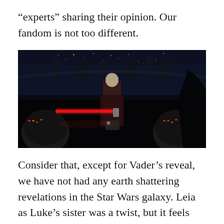“experts” sharing their opinion. Our fandom is not too different.
[Figure (photo): A dark scene from Star Wars showing a robed figure standing in a command center with red lightsabers visible, a cityscape visible through a large curved window in the background.]
Consider that, except for Vader’s reveal, we have not had any earth shattering revelations in the Star Wars galaxy. Leia as Luke’s sister was a twist, but it feels like trying to reach the bar Empire. Han and Leia getting together was foreshadowed since the prison break in A New Hope. In the prequels, the